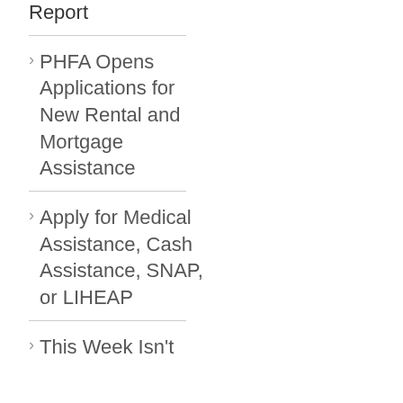Report
PHFA Opens Applications for New Rental and Mortgage Assistance
Apply for Medical Assistance, Cash Assistance, SNAP, or LIHEAP
This Week Isn't